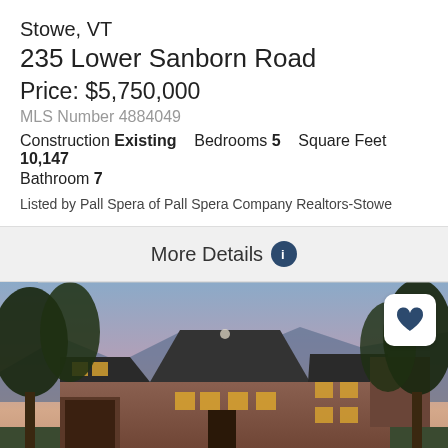Stowe, VT
235 Lower Sanborn Road
Price: $5,750,000
MLS Number 4884049
Construction Existing   Bedrooms 5   Square Feet 10,147
Bathroom 7
Listed by Pall Spera of Pall Spera Company Realtors-Stowe
More Details
[Figure (photo): Twilight exterior photo of a large multi-gabled residential home in Stowe, VT, surrounded by trees with mountains in the background and warm interior lights glowing through windows.]